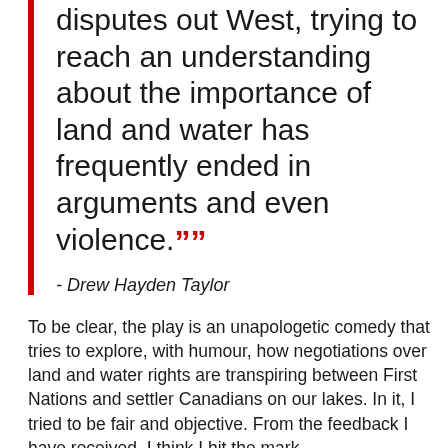disputes out West, trying to reach an understanding about the importance of land and water has frequently ended in arguments and even violence.””
- Drew Hayden Taylor
To be clear, the play is an unapologetic comedy that tries to explore, with humour, how negotiations over land and water rights are transpiring between First Nations and settler Canadians on our lakes. In it, I tried to be fair and objective. From the feedback I have received, I think I hit the mark.